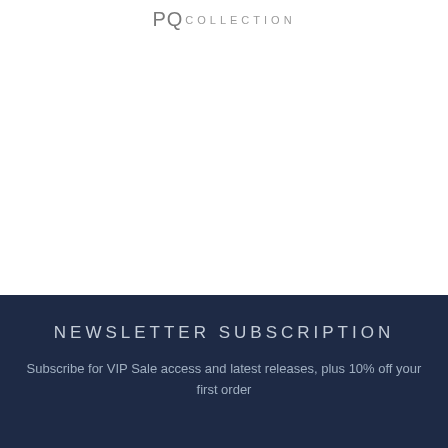PQ COLLECTION
NEWSLETTER SUBSCRIPTION
Subscribe for VIP Sale access and latest releases, plus 10% off your first order